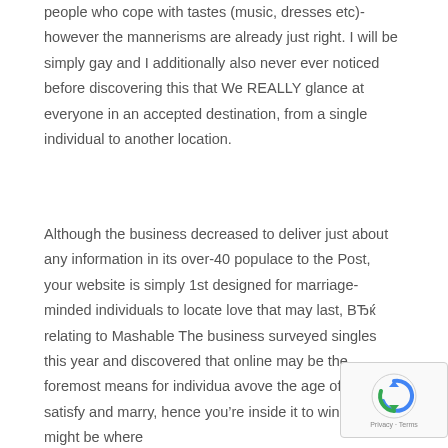people who cope with tastes (music, dresses etc)- however the mannerisms are already just right. I will be simply gay and I additionally also never ever noticed before discovering this that We REALLY glance at everyone in an accepted destination, from a single individual to another location.
Although the business decreased to deliver just about any information in its over-40 populace to the Post, your website is simply 1st designed for marriage-minded individuals to locate love that may last, ВЂќ relating to Mashable The business surveyed singles this year and discovered that online may be the foremost means for individuals avove the age of 40 to satisfy and marry, hence youвЂ™re inside it to win it, this might be where
[Figure (logo): reCAPTCHA badge with logo and Privacy - Terms text]